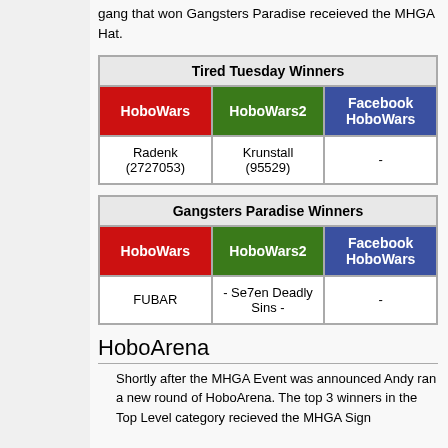gang that won Gangsters Paradise receieved the MHGA Hat.
| HoboWars | HoboWars2 | Facebook HoboWars |
| --- | --- | --- |
| Radenk (2727053) | Krunstall (95529) | - |
| HoboWars | HoboWars2 | Facebook HoboWars |
| --- | --- | --- |
| FUBAR | - Se7en Deadly Sins - | - |
HoboArena
Shortly after the MHGA Event was announced Andy ran a new round of HoboArena. The top 3 winners in the Top Level category recieved the MHGA Sign